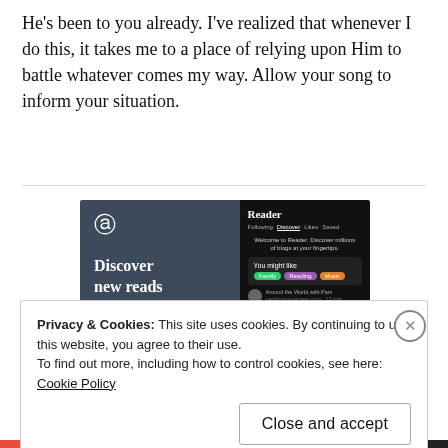He's been to you already. I've realized that whenever I do this, it takes me to a place of relying upon Him to battle whatever comes my way. Allow your song to inform your situation.
[Figure (screenshot): WordPress Reader advertisement showing 'Discover new reads on the go.' with a dark-themed UI mockup showing blog discovery features including tags like Family, Reading, Music and a blog entry 'Around the World with Pam']
Privacy & Cookies: This site uses cookies. By continuing to use this website, you agree to their use.
To find out more, including how to control cookies, see here: Cookie Policy